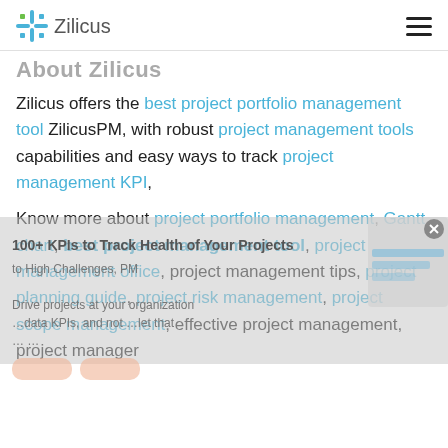Zilicus
About Zilicus
Zilicus offers the best project portfolio management tool ZilicusPM, with robust project management tools capabilities and easy ways to track project management KPI,
Know more about project portfolio management, Gantt chart, best project management tool, project management office, project management tips, project planning guide, project risk management, project scope management, effective project management, project manager